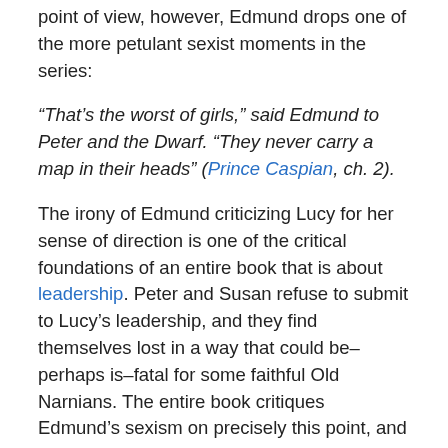point of view, however, Edmund drops one of the more petulant sexist moments in the series:
“That’s the worst of girls,” said Edmund to Peter and the Dwarf. “They never carry a map in their heads” (Prince Caspian, ch. 2).
The irony of Edmund criticizing Lucy for her sense of direction is one of the critical foundations of an entire book that is about leadership. Peter and Susan refuse to submit to Lucy’s leadership, and they find themselves lost in a way that could be–perhaps is–fatal for some faithful Old Narnians. The entire book critiques Edmund’s sexism on precisely this point, and Alicia Burrus notes that “Jill’s marked competence” in The Last Battle–Jill Pole goes on to become a strong marksman and an excellent scout–is a kind of rebuke to Edmund’s tiresome beliefs about boys